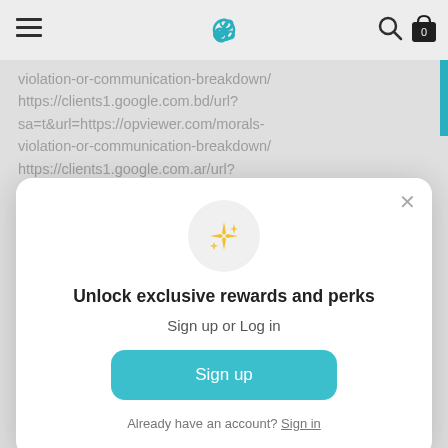Navigation bar with hamburger menu, triskelion logo, search icon, and cart icon (0 items)
violation-or-communication-breakdown/
https://clients1.google.com.bd/url?sa=t&url=https://opviewer.com/morals-violation-or-communication-breakdown/
https://clients1.google.com.ar/url?sa=t&url=https://opviewer.com/morals-
[Figure (other): Modal popup with sparkles icon, unlock rewards text, sign up or log in prompt, and sign up button]
Unlock exclusive rewards and perks
Sign up or Log in
Sign up
Already have an account? Sign in
sa=t&url=https://opviewer.com/morals-